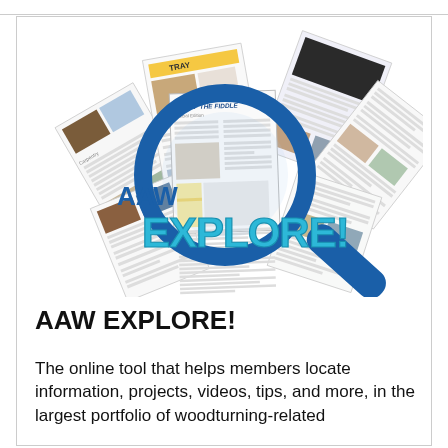[Figure (illustration): Illustration of magazine/journal pages fanned out with a large blue magnifying glass overlaid, and bold teal/blue text reading 'EXPLORE!' overlapping the magnifying glass. 'AAW' text appears to the left of the magnifying glass in blue.]
AAW EXPLORE!
The online tool that helps members locate information, projects, videos, tips, and more, in the largest portfolio of woodturning-related